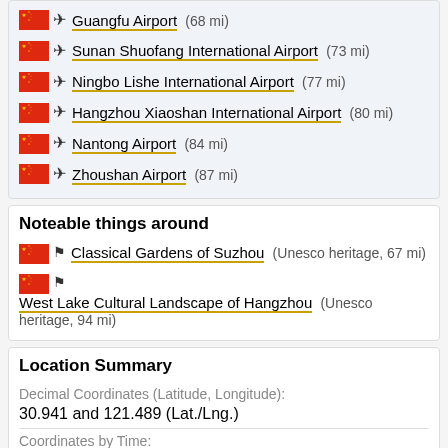Guangfu Airport (68 mi)
Sunan Shuofang International Airport (73 mi)
Ningbo Lishe International Airport (77 mi)
Hangzhou Xiaoshan International Airport (80 mi)
Nantong Airport (84 mi)
Zhoushan Airport (87 mi)
Noteable things around
Classical Gardens of Suzhou (Unesco heritage, 67 mi)
West Lake Cultural Landscape of Hangzhou (Unesco heritage, 94 mi)
Location Summary
Decimal Coordinates (Latitude, Longitude):
30.941 and 121.489 (Lat./Lng.)
Coordinates by Time:
N 30° 56' 27" and E 121° 29' 18"
Currency and Currency Code: